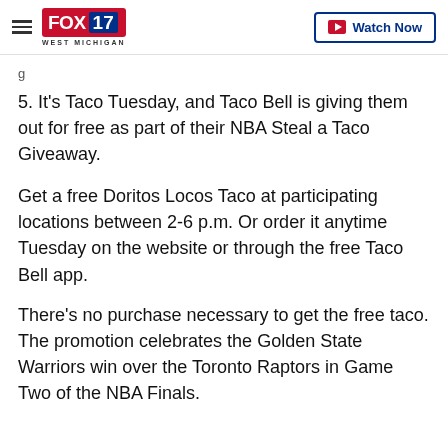FOX 17 WEST MICHIGAN | Watch Now
5. It's Taco Tuesday, and Taco Bell is giving them out for free as part of their NBA Steal a Taco Giveaway.
Get a free Doritos Locos Taco at participating locations between 2-6 p.m. Or order it anytime Tuesday on the website or through the free Taco Bell app.
There's no purchase necessary to get the free taco. The promotion celebrates the Golden State Warriors win over the Toronto Raptors in Game Two of the NBA Finals.